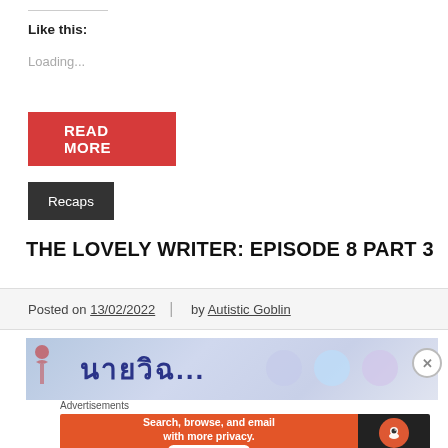Like this:
Loading...
READ MORE
Recaps
THE LOVELY WRITER: EPISODE 8 PART 3
Posted on 13/02/2022 | by Autistic Goblin
[Figure (photo): Partial image of a Thai drama scene with text in Thai script and people in background]
Advertisements
[Figure (screenshot): DuckDuckGo advertisement banner: Search, browse, and email with more privacy. All in One Free App]